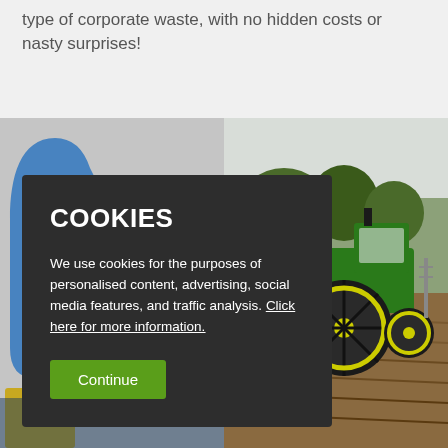type of corporate waste, with no hidden costs or nasty surprises!
[Figure (photo): Partial view of farm equipment on left side, blue curved metal parts visible against gray background]
[Figure (photo): Green John Deere tractor working in a plowed field with trees in the background]
COOKIES

We use cookies for the purposes of personalised content, advertising, social media features, and traffic analysis. Click here for more information.

Continue